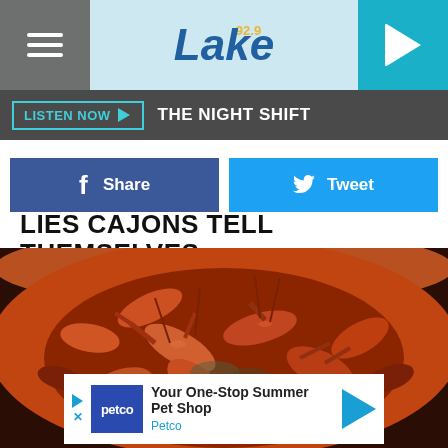92.9 The Lake — Listen Now — THE NIGHT SHIFT
LIES CAJONS TELL THEMSELVES
[Figure (photo): A large bowl filled with boiled crawfish/crayfish, cooked red-orange in color, piled high.]
Your One-Stop Summer Pet Shop — Petco